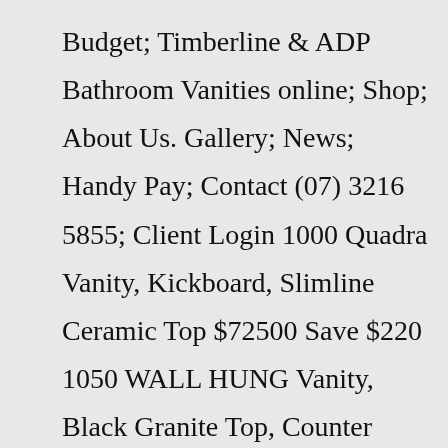Budget; Timberline & ADP Bathroom Vanities online; Shop; About Us. Gallery; News; Handy Pay; Contact (07) 3216 5855; Client Login 1000 Quadra Vanity, Kickboard, Slimline Ceramic Top $72500 Save $220 1050 WALL HUNG Vanity, Black Granite Top, Counter Basin, FREE Hi-Rise Mixer & Pop-up Waste $85500 Save $1,440 1200 ALL DRAWER Vanity, Legs/ Kickboard, Single Ceramic Top